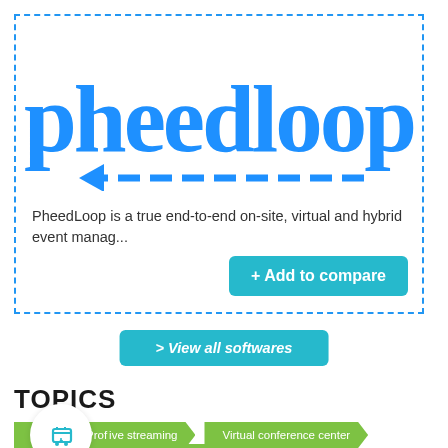[Figure (logo): PheedLoop logo in blue cursive/handwritten font with a dashed arrow beneath it, inside a dashed blue border card]
PheedLoop is a true end-to-end on-site, virtual and hybrid event manag...
+ Add to compare
> View all softwares
TOPICS
Professional live streaming
Virtual conference center
Branding & Customization features